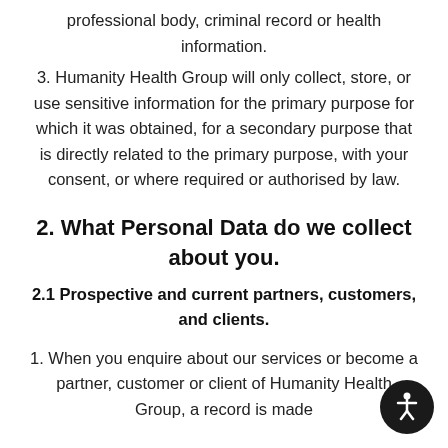professional body, criminal record or health information.
3. Humanity Health Group will only collect, store, or use sensitive information for the primary purpose for which it was obtained, for a secondary purpose that is directly related to the primary purpose, with your consent, or where required or authorised by law.
2. What Personal Data do we collect about you.
2.1 Prospective and current partners, customers, and clients.
1. When you enquire about our services or become a partner, customer or client of Humanity Health Group, a record is made